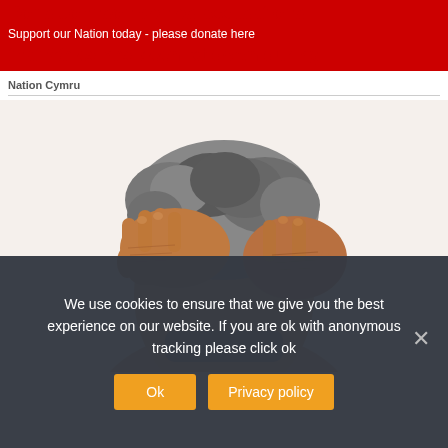Boris Johnson denies accusations that Wales has been let down during...
Support our Nation today - please donate here
Nation Cymru
[Figure (photo): Close-up photo of elderly hands with wrinkled skin pressed against a person's head with grey curly hair, white background, stress-themed image.]
We use cookies to ensure that we give you the best experience on our website. If you are ok with anonymous tracking please click ok
Ok
Privacy policy